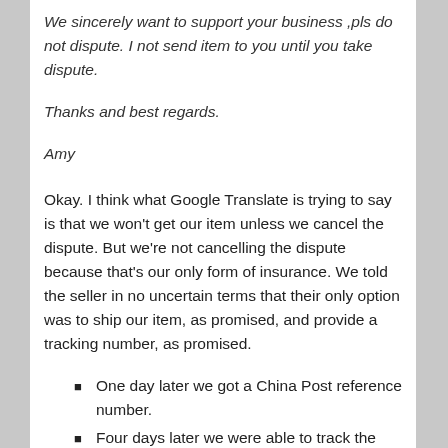We sincerely want to support your business ,pls do not dispute. I not send item to you until you take dispute.
Thanks and best regards.
Amy
Okay. I think what Google Translate is trying to say is that we won't get our item unless we cancel the dispute. But we're not cancelling the dispute because that's our only form of insurance. We told the seller in no uncertain terms that their only option was to ship our item, as promised, and provide a tracking number, as promised.
One day later we got a China Post reference number.
Four days later we were able to track the item as it left Shenzhen, China.
This looks like a seller taking orders on their own website and then placing those orders on Aliexpress or Taobao. That is, they're a middle man posing as a supplier. But